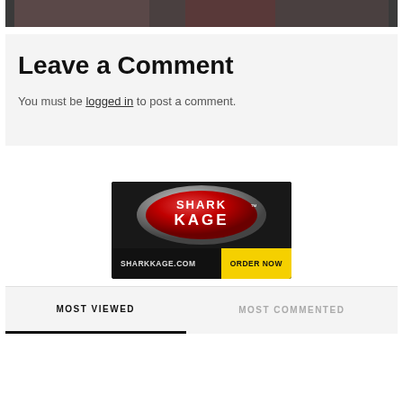[Figure (photo): Top strip showing partial image, dark background]
Leave a Comment
You must be logged in to post a comment.
[Figure (logo): Shark Kage advertisement with red oval logo on dark background, SHARKKAGE.COM ORDER NOW banner at bottom]
MOST VIEWED
MOST COMMENTED